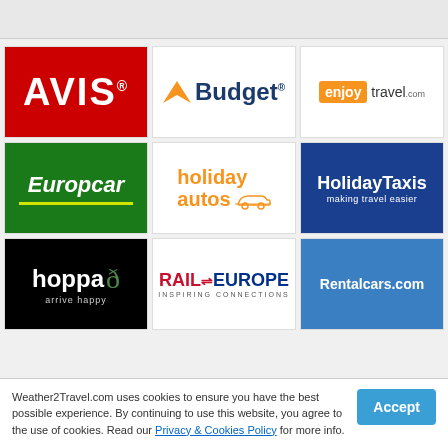[Figure (logo): AVIS car rental logo - white text on red background]
[Figure (logo): Budget car rental logo - orange arrow with dark blue text]
[Figure (logo): enjoytravel.com logo - orange box with white text and grey travel text]
[Figure (logo): Europcar logo - white italic text on green background with yellow-green underline]
[Figure (logo): holiday autos logo - orange text with car illustration]
[Figure (logo): HolidayTaxis logo - white text on blue background with tagline making travel easier]
[Figure (logo): hoppa logo - white text on black background with green swirl and arrive happy tagline]
[Figure (logo): Rail Europe logo - red and blue text with INSPIRING CONNECTIONS tagline]
[Figure (logo): Rentalcars.com logo - white text on blue background]
Weather2Travel.com uses cookies to ensure you have the best possible experience. By continuing to use this website, you agree to the use of cookies. Read our Privacy & Cookies Policy for more info.